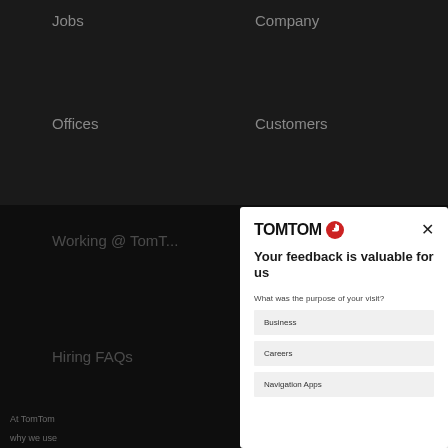Jobs    Company
Offices    Customers
Working @ TomTom
Hiring FAQs
At TomTom why we use browsing ex streamline show you p interests (i your prefe at tomtom
[Figure (screenshot): TomTom feedback modal dialog overlay on dark background website. Modal contains TomTom logo with red hand icon, close X button, title 'Your feedback is valuable for us', question 'What was the purpose of your visit?' with answer options Business, Careers, Navigation Apps. Right edge shows vertical 'Feedback' tab.]
Your feedback is valuable for us
What was the purpose of your visit?
Business
Careers
Navigation Apps